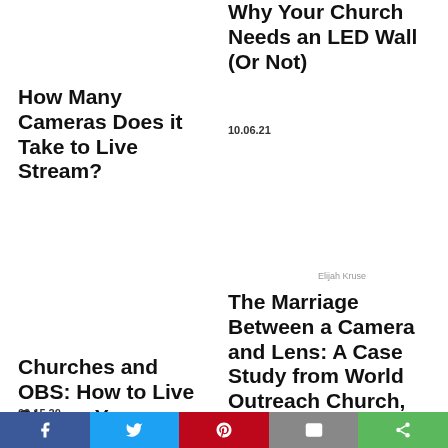How Many Cameras Does it Take to Live Stream?
Why Your Church Needs an LED Wall (Or Not)
10.06.21
Elijah Kruse
Churches and OBS: How to Live Stream Your Services
09.15.20
The Marriage Between a Camera and Lens: A Case Study from World Outreach Church, Murfreesboro, Tennessee